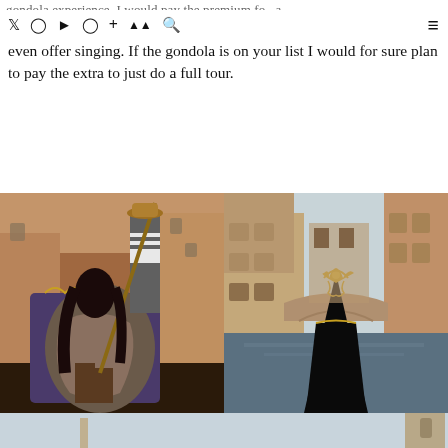gondola experience, I would pay the premium for a tour which are longer than and half hour and some
even offer singing. If the gondola is on your list I would for sure plan to pay the extra to just do a full tour.
[Figure (photo): Woman in patterned dress sitting on ornate gondola chair with gondolier standing behind in Venice canal]
[Figure (photo): View from inside gondola looking forward at Venice canal with ornate prow decoration and historic buildings]
[Figure (photo): Bottom portion of Venice church or landmark against light blue sky]